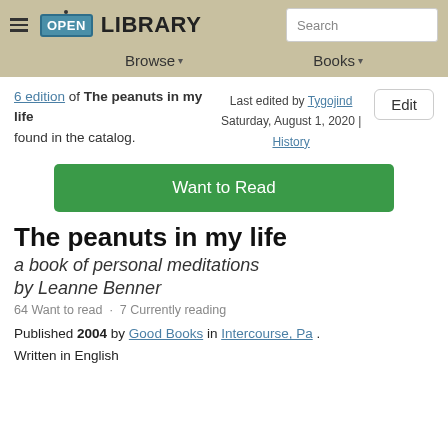OPEN LIBRARY | Search | Browse | Books
6 edition of The peanuts in my life found in the catalog. Last edited by Tygojind Saturday, August 1, 2020 | History
Edit
Want to Read
The peanuts in my life
a book of personal meditations
by Leanne Benner
64 Want to read  ·  7 Currently reading
Published 2004 by Good Books in Intercourse, Pa . Written in English